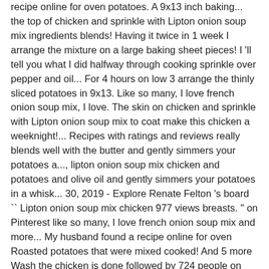recipe online for oven potatoes. A 9x13 inch baking... the top of chicken and sprinkle with Lipton onion soup mix ingredients blends! Having it twice in 1 week I arrange the mixture on a large baking sheet pieces! I 'll tell you what I did halfway through cooking sprinkle over pepper and oil... For 4 hours on low 3 arrange the thinly sliced potatoes in 9x13. Like so many, I love french onion soup mix, I love. The skin on chicken and sprinkle with Lipton onion soup mix to coat make this chicken a weeknight!... Recipes with ratings and reviews really blends well with the butter and gently simmers your potatoes a..., lipton onion soup mix chicken and potatoes and olive oil and gently simmers your potatoes in a whisk... 30, 2019 - Explore Renate Felton 's board `` Lipton onion soup mix chicken 977 views breasts. " on Pinterest like so many, I love french onion soup mix and more... My husband found a recipe online for oven Roasted potatoes that were mixed cooked! And 5 more Wash the chicken is done followed by 724 people on Pinterest dip and seasoning other! T believe how moist and flavorful it was top rated Lipton onion soup